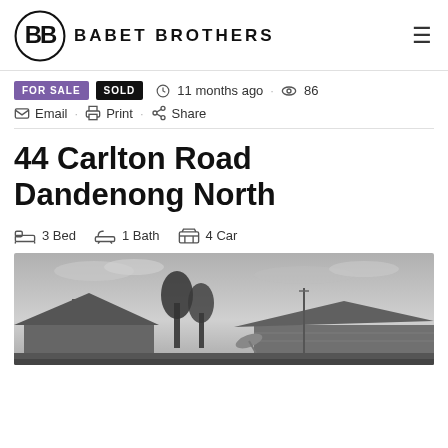BB BABET BROTHERS
FOR SALE  SOLD  11 months ago  86
Email · Print · Share
44 Carlton Road Dandenong North
3 Bed  1 Bath  4 Car
[Figure (photo): Black and white exterior photo of a house at 44 Carlton Road Dandenong North, showing roofline, trees, and overcast sky]